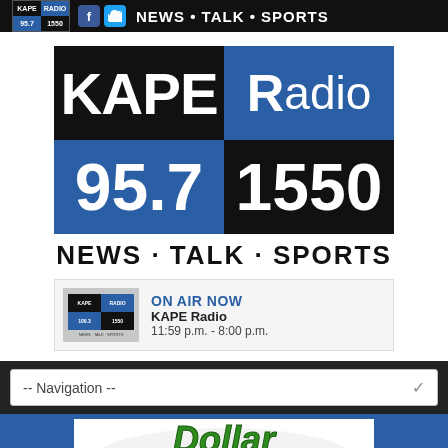KAPE RADIO 95.7 1550 NEWS • TALK • SPORTS
[Figure (logo): KAPE Radio logo with four quadrants: KAPE (black), RADIO (blue), 95.7 (blue), 1550 (black), with NEWS · TALK · SPORTS tagline below]
ON AIR NOW
KAPE Radio
11:59 p.m. - 8:00 p.m.
-- Navigation --
[Figure (logo): Dollar Saving Deals .com logo with green Dollar text, blue Saving Deals banner, and .com text]